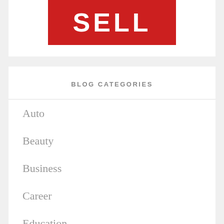[Figure (logo): Red banner with white bold text 'SELL' in large uppercase letters]
BLOG CATEGORIES
Auto
Beauty
Business
Career
Education
Entertainment